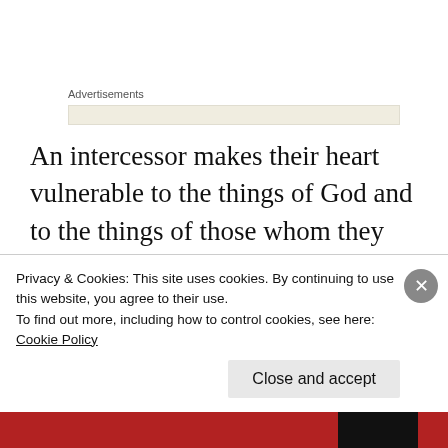Advertisements
An intercessor makes their heart vulnerable to the things of God and to the things of those whom they pray for. You will often hear that an intercessor can feel the pain of others. Because they are susceptible to heightened levels of empathy and
Privacy & Cookies: This site uses cookies. By continuing to use this website, you agree to their use.
To find out more, including how to control cookies, see here:
Cookie Policy
Close and accept